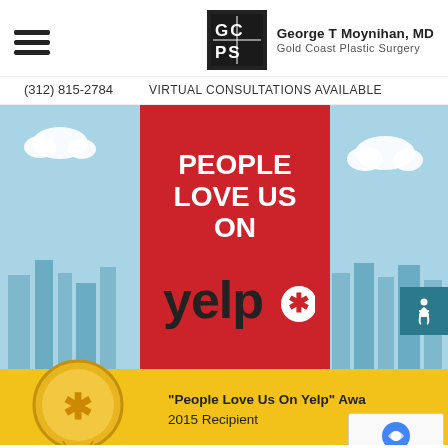[Figure (logo): Gold Coast Plastic Surgery logo with GCPS monogram in black box]
George T Moynihan, MD
Gold Coast Plastic Surgery
(312) 815-2784   VIRTUAL CONSULTATIONS AVAILABLE
[Figure (screenshot): Yelp 'People Love Us On Yelp' banner with red center panel, blue city skyline background, yellow award bar at bottom with Yelp pin trophy and text: '"People Love Us On Yelp" Award 2015 Recipient']